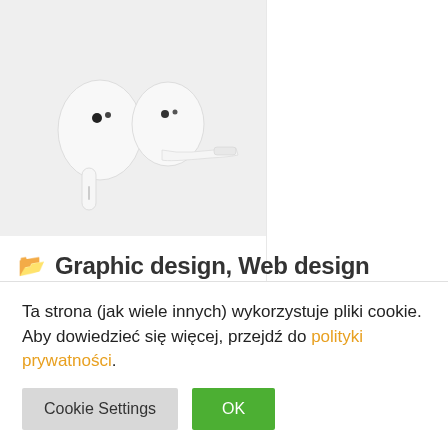[Figure (photo): Two white Apple AirPods earbuds on a light gray background]
Graphic design, Web design
Apple AirPods
Ta strona (jak wiele innych) wykorzystuje pliki cookie. Aby dowiedzieć się więcej, przejdź do polityki prywatności.
Cookie Settings  OK